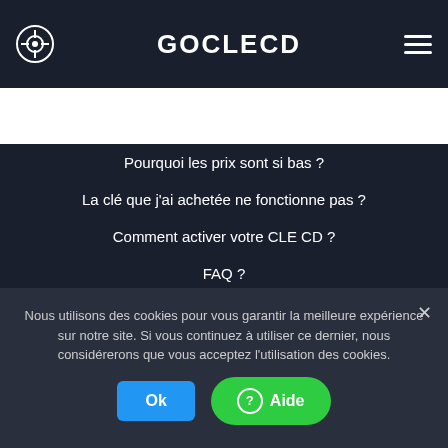GOCLECD
Rechercher un jeu...
Pourquoi les prix sont si bas ?
La clé que j'ai achetée ne fonctionne pas ?
Comment activer votre CLE CD ?
FAQ ?
Allkeyshop Extension ?
PARTENARIATS
Nous utilisons des cookies pour vous garantir la meilleure expérience sur notre site. Si vous continuez à utiliser ce dernier, nous considérerons que vous acceptez l'utilisation des cookies.
Ok
? Aide